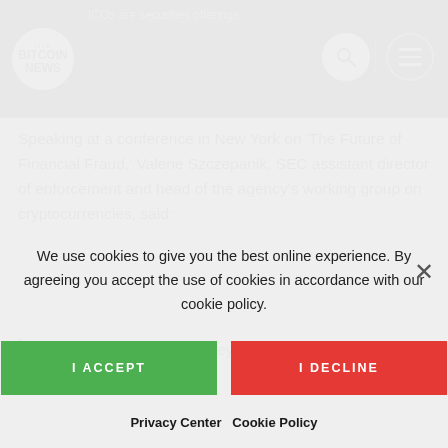LIVE BITCOIN NEWS
Speaking at a conference in New York on 'The Future of Financial Fraud,' Valerie Szczepanik, SEC assistant director of enforcement and head of the agency's working group on cryptocurrencies, said:
They're raising a lot of money, but they're
We use cookies to give you the best online experience. By agreeing you accept the use of cookies in accordance with our cookie policy.
I ACCEPT   I DECLINE
Privacy Center   Cookie Policy